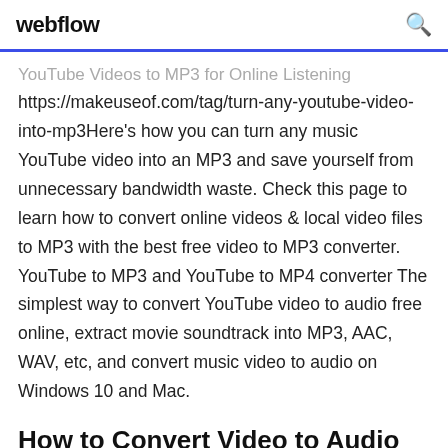webflow
YouTube Videos to MP3 for Online Listeninghttps://makeuseof.com/tag/turn-any-youtube-video-into-mp3Here's how you can turn any music YouTube video into an MP3 and save yourself from unnecessary bandwidth waste. Check this page to learn how to convert online videos & local video files to MP3 with the best free video to MP3 converter. YouTube to MP3 and YouTube to MP4 converter The simplest way to convert YouTube video to audio free online, extract movie soundtrack into MP3, AAC, WAV, etc, and convert music video to audio on Windows 10 and Mac.
How to Convert Video to Audio